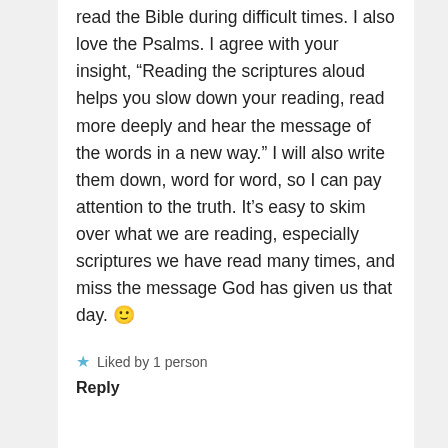read the Bible during difficult times. I also love the Psalms. I agree with your insight, “Reading the scriptures aloud helps you slow down your reading, read more deeply and hear the message of the words in a new way.” I will also write them down, word for word, so I can pay attention to the truth. It’s easy to skim over what we are reading, especially scriptures we have read many times, and miss the message God has given us that day. 🙂
Liked by 1 person
Reply